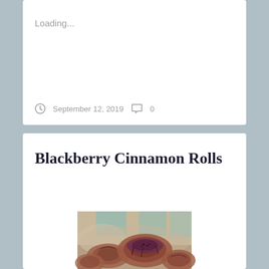Loading...
September 12, 2019   0
Blackberry Cinnamon Rolls
[Figure (photo): Close-up photo of blackberry cinnamon rolls with dark reddish-purple glaze on top, on a light surface with blurred kitchen background]